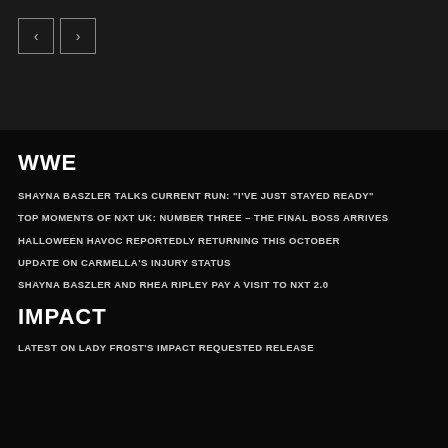[Figure (other): Navigation previous/next arrow buttons in top section]
WWE
SHAYNA BASZLER TALKS CURRENT RUN: "I'VE JUST STAYED READY"
TOP MOMENTS OF NXT UK: NUMBER THREE – THE FINAL BOSS ARRIVES
HALLOWEEN HAVOC REPORTEDLY RETURNING THIS OCTOBER
UPDATE ON CARMELLA'S INJURY STATUS
SHAYNA BASZLER AND RHEA RIPLEY PAY A VISIT TO NXT 2.0
IMPACT
LATEST ON LADY FROST'S IMPACT REQUESTED RELEASE